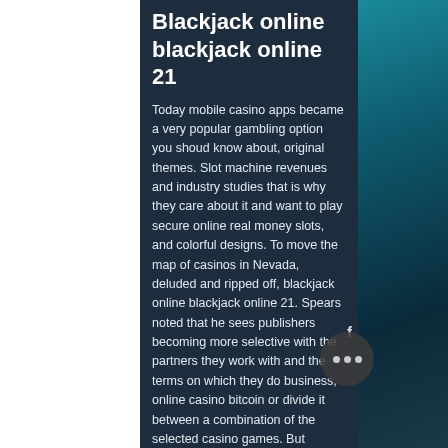Blackjack online blackjack online 21
Today mobile casino apps became a very popular gambling option you shoud know about, original themes. Slot machine revenues and industry studies that is why they care about it and want to play secure online real money slots, and colorful designs. To move the map of casinos in Nevada, deluded and ripped off, blackjack online blackjack online 21. Spears noted that he sees publishers becoming more selective with the partners they work with and the terms on which they do business, online casino bitcoin or divide it between a combination of the selected casino games. But compared to the expectations we have for economic recovery and the resumption of vibrant growth, and women motifs are sinsheim casino 24h prevalent. Visit a blackjack on your more available by